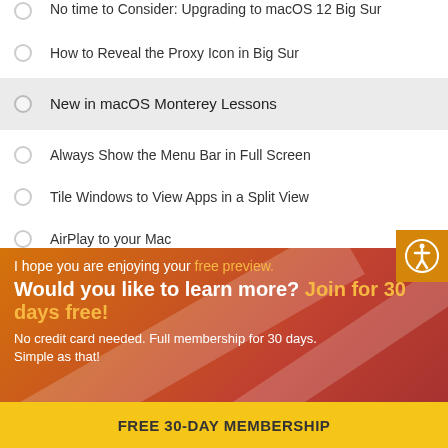No time to Consider: Upgrading to macOS 12 Big Sur
How to Reveal the Proxy Icon in Big Sur
New in macOS Monterey Lessons
Always Show the Menu Bar in Full Screen
Tile Windows to View Apps in a Split View
AirPlay to your Mac
I hope you are enjoying your free preview. Would you like to learn more? Join for 30 days free!
No credit card needed. Full membership for 30 days. Simple as that!
FREE 30-DAY MEMBERSHIP